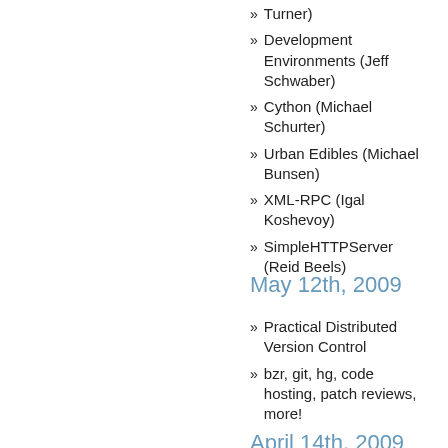Turner)
Development Environments (Jeff Schwaber)
Cython (Michael Schurter)
Urban Edibles (Michael Bunsen)
XML-RPC (Igal Koshevoy)
SimpleHTTPServer (Reid Beels)
May 12th, 2009
Practical Distributed Version Control
bzr, git, hg, code hosting, patch reviews, more!
April 14th, 2009